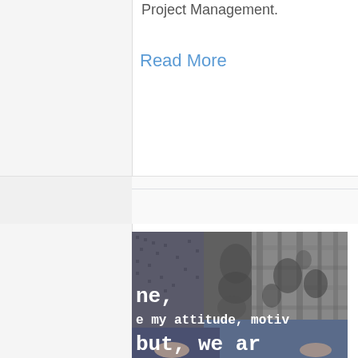Project Management.
Read More
[Figure (photo): Black and white photo of people standing together with overlaid white text reading 'ne,' 'e my attitude, motiv' and 'but, we ar']